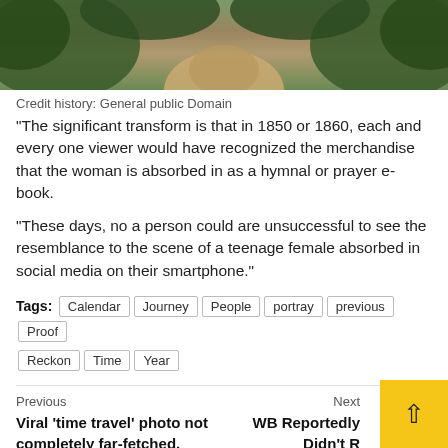[Figure (photo): Top portion of a nature/landscape photo showing a dirt path or eroded ground with green foliage/bushes on the sides]
Credit history: General public Domain
“The significant transform is that in 1850 or 1860, each and every one viewer would have recognized the merchandise that the woman is absorbed in as a hymnal or prayer e-book.
“These days, no a person could are unsuccessful to see the resemblance to the scene of a teenage female absorbed in social media on their smartphone.”
Tags: Calendar | Journey | People | portray | previous | Proof | Reckon | Time | Year
Previous
Viral ‘time travel’ photo not completely far-fetched, futurist says
Next
WB Reportedly Didn’t R... The Flash Time Jour... Snyder Slash